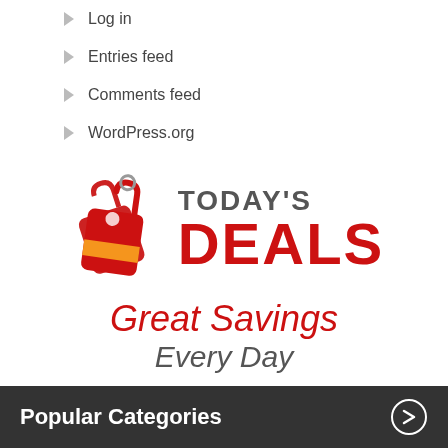Log in
Entries feed
Comments feed
WordPress.org
[Figure (logo): Today's Deals logo with price tag icon, red text reading DEALS and tagline Great Savings Every Day]
Popular Categories